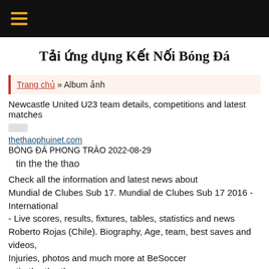Navigation bar with hamburger menu
Tải ứng dụng Kết Nối Bóng Đá
Trang chủ » Album ảnh
Newcastle United U23 team details, competitions and latest matches
thethaophuinet.com
BÓNG ĐÁ PHONG TRÀO 2022-08-29
tin the the thao
Check all the information and latest news about Mundial de Clubes Sub 17. Mundial de Clubes Sub 17 2016 - International - Live scores, results, fixtures, tables, statistics and news Roberto Rojas (Chile). Biography, Age, team, best saves and videos, Injuries, photos and much more at BeSoccer
tin the the thao
We take a look ahead to Sunday's
Hỗ trợ trực tuyến